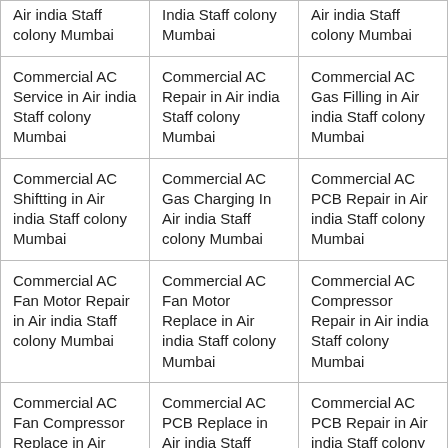| Air india Staff colony Mumbai | India Staff colony Mumbai | Air india Staff colony Mumbai |
| Commercial AC Service in Air india Staff colony Mumbai | Commercial AC Repair in Air india Staff colony Mumbai | Commercial AC Gas Filling in Air india Staff colony Mumbai |
| Commercial AC Shiftting in Air india Staff colony Mumbai | Commercial AC Gas Charging In Air india Staff colony Mumbai | Commercial AC PCB Repair in Air india Staff colony Mumbai |
| Commercial AC Fan Motor Repair in Air india Staff colony Mumbai | Commercial AC Fan Motor Replace in Air india Staff colony Mumbai | Commercial AC Compressor Repair in Air india Staff colony Mumbai |
| Commercial AC Fan Compressor Replace in Air india Staff colony Mumbai | Commercial AC PCB Replace in Air india Staff colony Mumbai | Commercial AC PCB Repair in Air india Staff colony Mumbai |